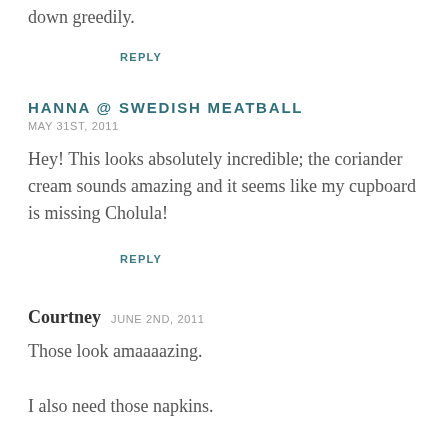down greedily.
REPLY
HANNA @ SWEDISH MEATBALL
MAY 31ST, 2011
Hey! This looks absolutely incredible; the coriander cream sounds amazing and it seems like my cupboard is missing Cholula!
REPLY
Courtney  JUNE 2ND, 2011
Those look amaaaazing.
I also need those napkins.